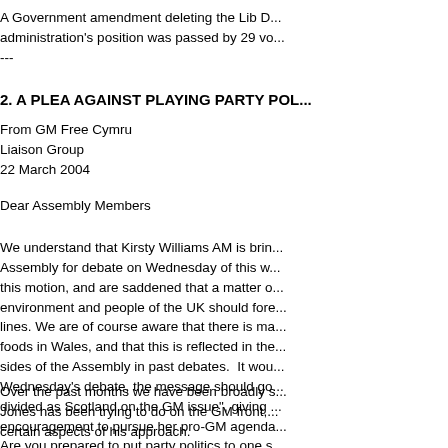A Government amendment deleting the Lib D... administration's position was passed by 29 vo...
---
2. A PLEA AGAINST PLAYING PARTY POL...
From GM Free Cymru
Liaison Group
22 March 2004
Dear Assembly Members
We understand that Kirsty Williams AM is brin... Assembly for debate on Wednesday of this w... this motion, and are saddened that a matter o... environment and people of the UK should fore... lines. We are of course aware that there is ma... foods in Wales, and that this is reflected in the... sides of the Assembly in past debates.  It wou... Wednesday's debate, the message should go... divided as Scotland on the GM issue", giving ... encouragement to pursue her pro-GM agenda...
Over the past months we have been broadly s... Jones has been trying to do on the GM front,... certain aspects of his approach.
Are you prepared to put party politics to one s... Wednesday, in an attempt to send a strong a...